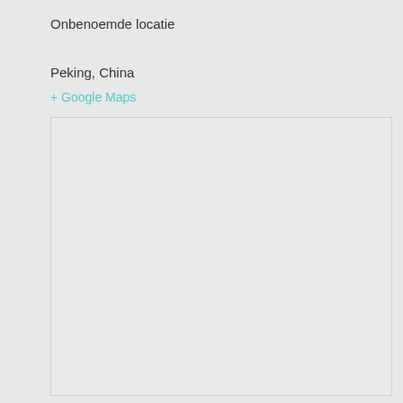Onbenoemde locatie
Peking, China
+ Google Maps
[Figure (map): Blank light grey map area below the location text, representing a Google Maps embed placeholder for Peking, China.]